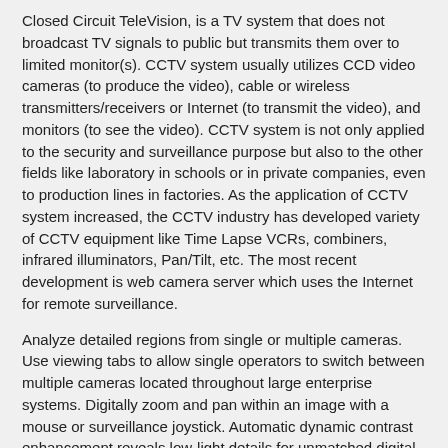Closed Circuit TeleVision, is a TV system that does not broadcast TV signals to public but transmits them over to limited monitor(s). CCTV system usually utilizes CCD video cameras (to produce the video), cable or wireless transmitters/receivers or Internet (to transmit the video), and monitors (to see the video). CCTV system is not only applied to the security and surveillance purpose but also to the other fields like laboratory in schools or in private companies, even to production lines in factories. As the application of CCTV system increased, the CCTV industry has developed variety of CCTV equipment like Time Lapse VCRs, combiners, infrared illuminators, Pan/Tilt, etc. The most recent development is web camera server which uses the Internet for remote surveillance.
Analyze detailed regions from single or multiple cameras. Use viewing tabs to allow single operators to switch between multiple cameras located throughout large enterprise systems. Digitally zoom and pan within an image with a mouse or surveillance joystick. Automatic dynamic contrast enhancement reveals low-light details for unmatched digital PTZ performance. View live or recorded high-definition surveillance footage.
HDSM technology
Avigilon Control Center uses our proprietary HDSM technology, which efficiently compresses and preserves image quality while intelligently managing HD image storage, minimizing the volume of...